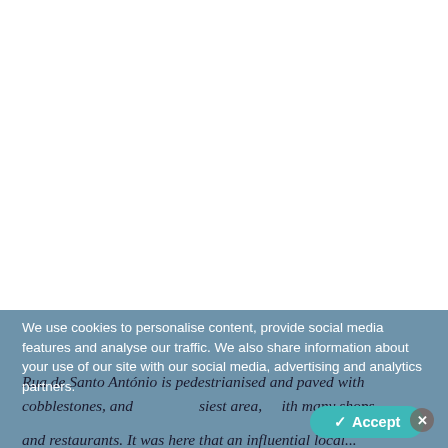[Figure (screenshot): A webpage screenshot showing a mostly white upper area with a cookie consent banner overlaid at the bottom over a steel-blue background. The banner reads: 'We use cookies to personalise content, provide social media features and analyse our traffic. We also share information about your use of our site with our social media, advertising and analytics partners.' with an Accept button and close (X) button. Behind/overlapping the banner is italic body text: 'Rua de Santo António is pedestrianised and paved with cobblestones, and [the bus]iest area, [w]ith many shops and restaurants. It was here that an influential local...']